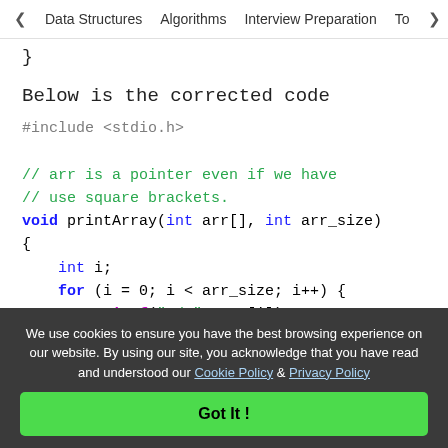< Data Structures   Algorithms   Interview Preparation   To>
}
Below is the corrected code
#include <stdio.h>

// arr is a pointer even if we have
// use square brackets.
void printArray(int arr[], int arr_size)
{
    int i;
    for (i = 0; i < arr_size; i++) {
        printf("%d ", arr[i]);
    }
We use cookies to ensure you have the best browsing experience on our website. By using our site, you acknowledge that you have read and understood our Cookie Policy & Privacy Policy
Got It !